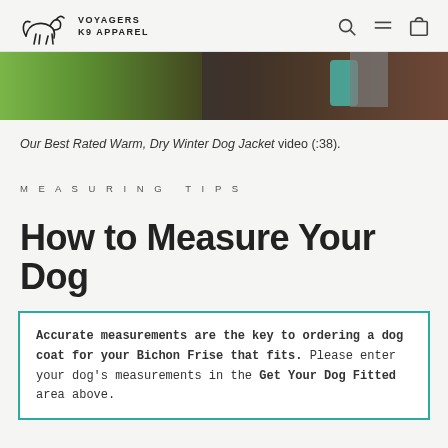Voyagers K9 Apparel
[Figure (photo): Hero image showing a dog wearing a teal jacket outdoors on green grass, with a person in a dark jacket visible behind.]
Our Best Rated Warm, Dry Winter Dog Jacket video (:38).
MEASURING TIPS
How to Measure Your Dog
Accurate measurements are the key to ordering a dog coat for your Bichon Frise that fits. Please enter your dog's measurements in the Get Your Dog Fitted area above.